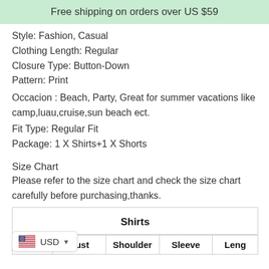Free shipping on orders over US $59
Style: Fashion, Casual
Clothing Length: Regular
Closure Type: Button-Down
Pattern: Print
Occacion : Beach, Party, Great for summer vacations like camp,luau,cruise,sun beach ect.
Fit Type: Regular Fit
Package: 1 X Shirts+1 X Shorts
Size Chart
Please refer to the size chart and check the size chart carefully before purchasing,thanks.
|  | Shirts |  |  |  |
| --- | --- | --- | --- | --- |
| Size | Bust | Shoulder | Sleeve | Leng |